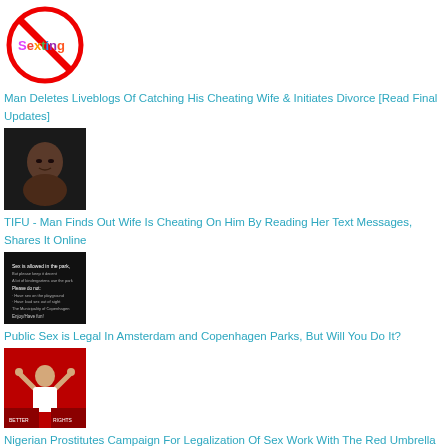[Figure (photo): No Sexting logo - red circle with slash over colorful 'Sexting' text]
Man Deletes Liveblogs Of Catching His Cheating Wife & Initiates Divorce [Read Final Updates]
[Figure (photo): Black man crying or emotional, dark background]
TIFU - Man Finds Out Wife Is Cheating On Him By Reading Her Text Messages, Shares It Online
[Figure (photo): Sign in a park about rules for sex in the park, Copenhagen municipality notice]
Public Sex is Legal In Amsterdam and Copenhagen Parks, But Will You Do It?
[Figure (photo): Woman in white shirt with arms raised at a protest, red banners in background]
Nigerian Prostitutes Campaign For Legalization Of Sex Work With The Red Umbrella Protests